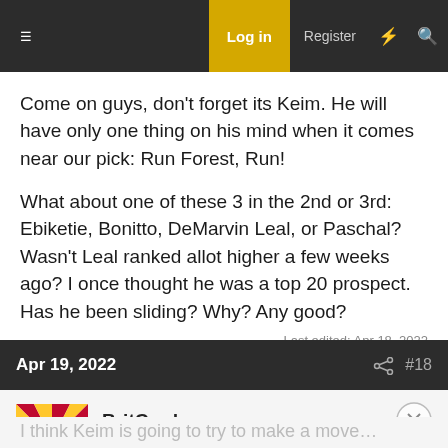Log in  Register
Come on guys, don't forget its Keim. He will have only one thing on his mind when it comes near our pick: Run Forest, Run!
What about one of these 3 in the 2nd or 3rd: Ebiketie, Bonitto, DeMarvin Leal, or Paschal? Wasn't Leal ranked allot higher a few weeks ago? I once thought he was a top 20 prospect. Has he been sliding? Why? Any good?
Last edited: Apr 18, 2022
Apr 19, 2022  #18
BritCard
ASFN Icon
I think Keim is going to try to make a move…